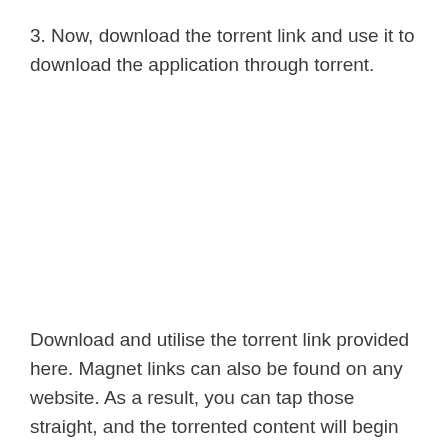3. Now, download the torrent link and use it to download the application through torrent.
Download and utilise the torrent link provided here. Magnet links can also be found on any website. As a result, you can tap those straight, and the torrented content will begin downloading immediately.